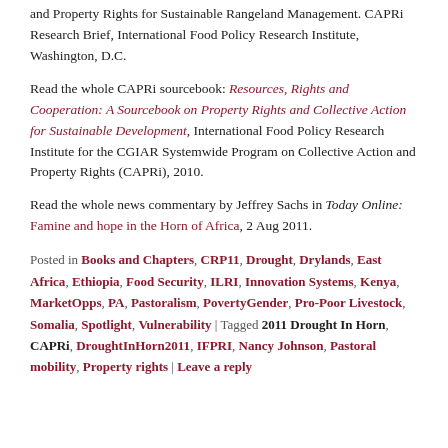and Property Rights for Sustainable Rangeland Management. CAPRi Research Brief, International Food Policy Research Institute, Washington, D.C.
Read the whole CAPRi sourcebook: Resources, Rights and Cooperation: A Sourcebook on Property Rights and Collective Action for Sustainable Development, International Food Policy Research Institute for the CGIAR Systemwide Program on Collective Action and Property Rights (CAPRi), 2010.
Read the whole news commentary by Jeffrey Sachs in Today Online: Famine and hope in the Horn of Africa, 2 Aug 2011.
Posted in Books and Chapters, CRP11, Drought, Drylands, East Africa, Ethiopia, Food Security, ILRI, Innovation Systems, Kenya, MarketOpps, PA, Pastoralism, PovertyGender, Pro-Poor Livestock, Somalia, Spotlight, Vulnerability | Tagged 2011 Drought In Horn, CAPRi, DroughtInHorn2011, IFPRI, Nancy Johnson, Pastoral mobility, Property rights | Leave a reply